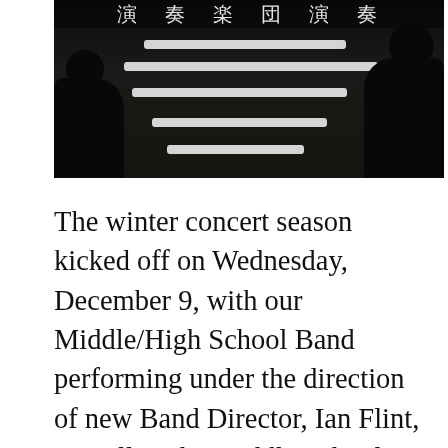[Figure (photo): A dark concert hall or stage scene with horizontal light strips (possibly music stand lights or stage lighting bars) glowing white against a very dark background. Silhouettes of people are visible at the edges.]
The winter concert season kicked off on Wednesday, December 9, with our Middle/High School Band performing under the direction of new Band Director, Ian Flint, as well as the Middle School and High School Choirs under the director of Choral Director Christy Maynard. The ensembles performed a variety of pieces ranging from African Folk tunes, to Hanukkah songs, to well-known holiday